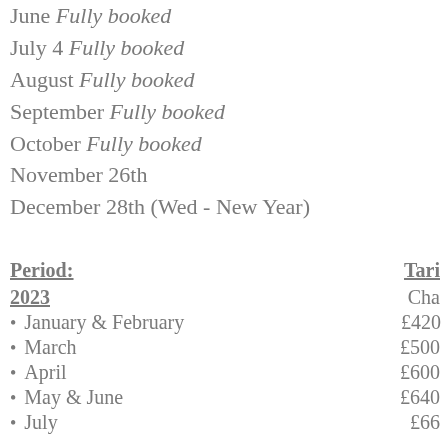June Fully booked
July 4 Fully booked
August Fully booked
September Fully booked
October Fully booked
November 26th
December 28th (Wed - New Year)
Period:
Tari...
2023
Cha...
January & February  £420
March  £500
April  £600
May & June  £640
July  £660